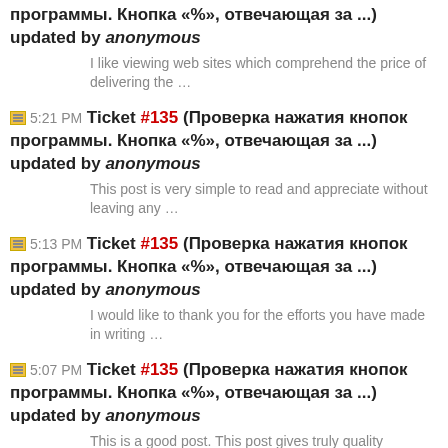программы. Кнопка «%», отвечающая за ...) updated by anonymous
I like viewing web sites which comprehend the price of delivering the …
5:21 PM Ticket #135 (Проверка нажатия кнопок программы. Кнопка «%», отвечающая за ...) updated by anonymous
This post is very simple to read and appreciate without leaving any …
5:13 PM Ticket #135 (Проверка нажатия кнопок программы. Кнопка «%», отвечающая за ...) updated by anonymous
I would like to thank you for the efforts you have made in writing …
5:07 PM Ticket #135 (Проверка нажатия кнопок программы. Кнопка «%», отвечающая за ...) updated by anonymous
This is a good post. This post gives truly quality information. I'm …
5:01 PM Ticket #135 (Проверка кнопок